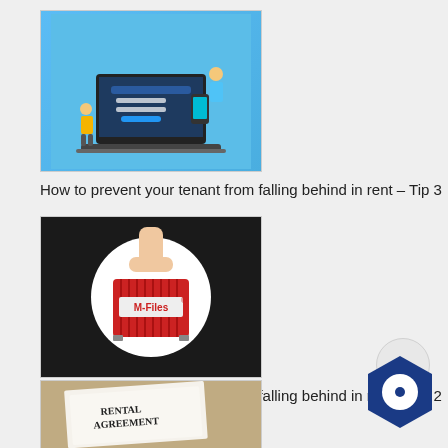[Figure (illustration): Thumbnail image showing a laptop with digital banking/online portal interface and cartoon characters representing users]
How to prevent your tenant from falling behind in rent – Tip 3
[Figure (illustration): Thumbnail showing a red M-Files document case/briefcase held by a hand, on dark background with white circle]
How to prevent your tenant from falling behind in rent – Tip 2
[Figure (illustration): Thumbnail showing a rental agreement document with a pen on a wooden table]
How to prevent your tenant from falling behind in r...